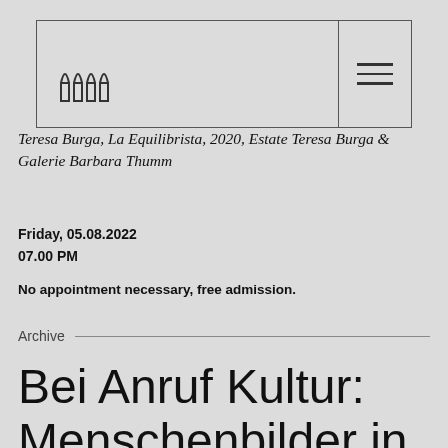[Logo: museum/building icon] [Hamburger menu icon]
Teresa Burga, La Equilibrista, 2020, Estate Teresa Burga & Galerie Barbara Thumm
Friday, 05.08.2022
07.00 PM
No appointment necessary, free admission.
Archive
Bei Anruf Kultur: Menschenbilder in der